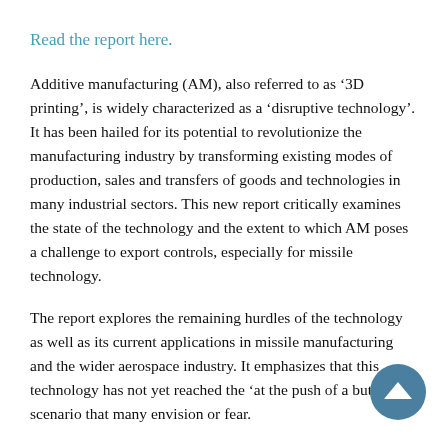Read the report here.
Additive manufacturing (AM), also referred to as ‘ 3D printing’, is widely characterized as a ‘disruptive technology’. It has been hailed for its potential to revolutionize the manufacturing industry by transforming existing modes of production, sales and transfers of goods and technologies in many industrial sectors. This new report critically examines the state of the technology and the extent to which AM poses a challenge to export controls, especially for missile technology.
The report explores the remaining hurdles of the technology as well as its current applications in missile manufacturing and the wider aerospace industry. It emphasizes that this technology has not yet reached the ‘at the push of a button’ scenario that many envision or fear.
One of the key challenges to export controls, states the report, that the capabilities of AM machines makes it difficult to